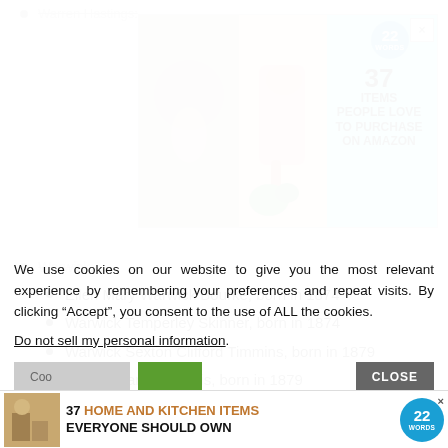Warren Hastings: (partial, struck through)
[Figure (screenshot): Advertisement banner: teal background with photos of jewelry and a pink soap dispenser, badge showing '22 words', text '37 ITEMS PEOPLE LOVE TO PURCHASE ON AMAZON']
Warwick: (partial, struck through)
Ellen Mary Warwick Bourke, born in 1874
Warwick Temperley Skinner, born in 1874
Warwick Sexton Clifford Timmins, born in 1879
James Warwick Davis, born in 1879
We use cookies on our website to give you the most relevant experience by remembering your preferences and repeat visits. By clicking “Accept”, you consent to the use of ALL the cookies.
Do not sell my personal information.
[Figure (screenshot): Bottom advertisement banner: white background, image of kitchen items, text '37 HOME AND KITCHEN ITEMS EVERYONE SHOULD OWN', badge showing '22 words']